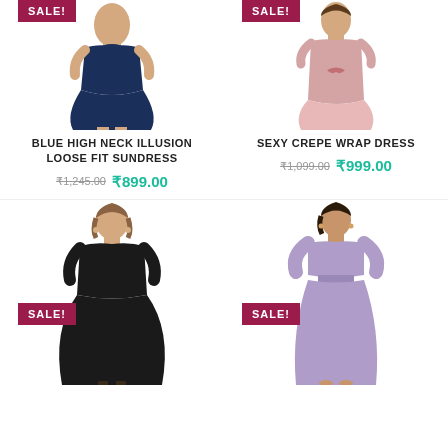[Figure (photo): Navy blue high neck loose fit sundress worn by a model, with a SALE! badge in dark pink/maroon at top left]
BLUE HIGH NECK ILLUSION LOOSE FIT SUNDRESS
₹1,245.00 ₹899.00
[Figure (photo): Pink crepe wrap dress with bow tie worn by a model, with a SALE! badge in dark pink/maroon at top left]
SEXY CREPE WRAP DRESS
₹1,099.00 ₹999.00
[Figure (photo): Black flared midi dress with elbow sleeves worn by a model, with a SALE! badge in dark pink/maroon]
[Figure (photo): Lavender/lilac long maxi dress with flutter sleeves worn by a model, with a SALE! badge in dark pink/maroon]